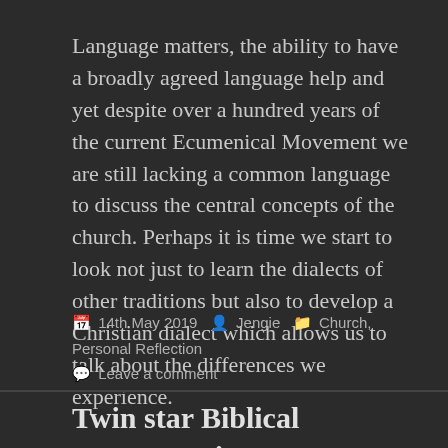Language matters, the ability to have a broadly agreed language help and yet despite over a hundred years of the current Ecumenical Movement we are still lacking a common language to discuss the central concepts of the church. Perhaps it is time we start to look not just to learn the dialects of other traditions but also to develop a Christian dialect which allows us to talk about the differences we experience.
14th May 2019  Jengie  Church, Personal Reflection  Leave a comment
Twin star Biblical Interpretation